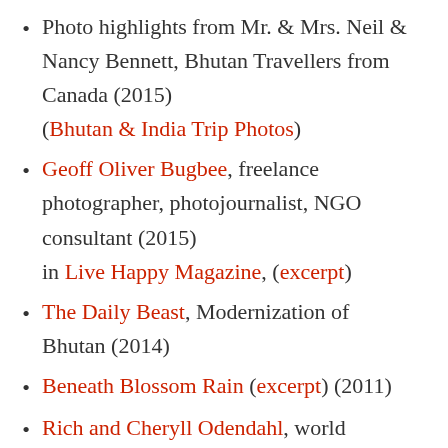Photo highlights from Mr. & Mrs. Neil & Nancy Bennett, Bhutan Travellers from Canada (2015) (Bhutan & India Trip Photos)
Geoff Oliver Bugbee, freelance photographer, photojournalist, NGO consultant (2015) in Live Happy Magazine, (excerpt)
The Daily Beast, Modernization of Bhutan (2014)
Beneath Blossom Rain (excerpt) (2011)
Rich and Cheryll Odendahl, world travelers recommend Bhutan Travel (2009)